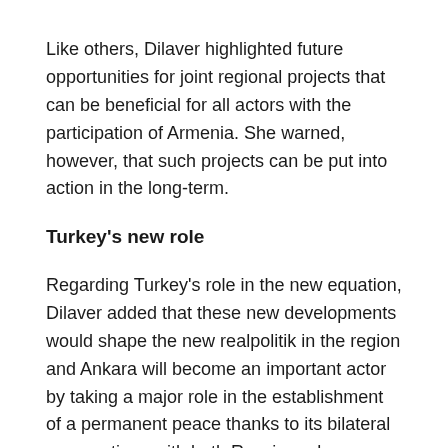Like others, Dilaver highlighted future opportunities for joint regional projects that can be beneficial for all actors with the participation of Armenia. She warned, however, that such projects can be put into action in the long-term.
Turkey's new role
Regarding Turkey's role in the new equation, Dilaver added that these new developments would shape the new realpolitik in the region and Ankara will become an important actor by taking a major role in the establishment of a permanent peace thanks to its bilateral cooperations with both Russia and Azerbaijan.
Turkey's recent proactive policies in the region led to positive results in the Karabakh conflict, Ismayil said,